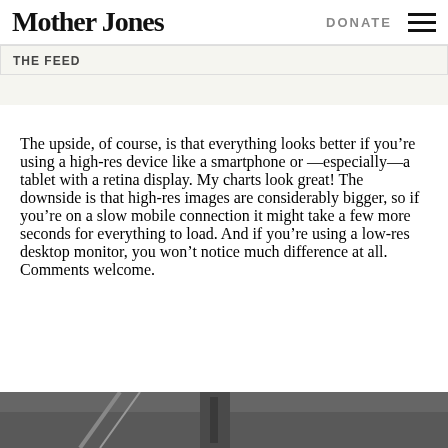Mother Jones | DONATE
The upside, of course, is that everything looks better if you're using a high-res device like a smartphone or —especially—a tablet with a retina display. My charts look great! The downside is that high-res images are considerably bigger, so if you're on a slow mobile connection it might take a few more seconds for everything to load. And if you're using a low-res desktop monitor, you won't notice much difference at all. Comments welcome.
[Figure (photo): Partial view of a dark/grayscale photograph at the bottom of the page, contents not fully visible]